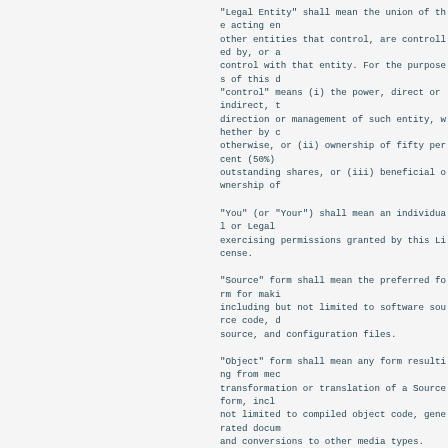"Legal Entity" shall mean the union of the acting entity and all other entities that control, are controlled by, or are under common control with that entity. For the purposes of this definition, "control" means (i) the power, direct or indirect, to cause the direction or management of such entity, whether by contract or otherwise, or (ii) ownership of fifty percent (50%) or more of the outstanding shares, or (iii) beneficial ownership of such entity.
"You" (or "Your") shall mean an individual or Legal Entity exercising permissions granted by this License.
"Source" form shall mean the preferred form for making modifications, including but not limited to software source code, documentation source, and configuration files.
"Object" form shall mean any form resulting from mechanical transformation or translation of a Source form, including but not limited to compiled object code, generated documentation, and conversions to other media types.
"Work" shall mean the work of authorship, whether in Source or Object form, made available under the License, as indicated by a copyright notice that is included in or attached to the work (an example is provided in the Appendix below).
"Derivative Works" shall mean any work, whether in Source or Object form, that is based on (or derived from) the Work and for which the editorial revisions, annotations, elaborations, or other modifications represent, as a whole, an original work of authorship. For the purposes of this License, Derivative Works shall not include works that remain separable from, or merely link (or bind by name) to the interfaces of, the Work and Derivative Works thereof.
"Contribution" shall mean any work of authorship, including the original version of the Work and any modifications or additions to that Work or Derivative Works thereof, that is intentionally submitted to Licensor for inclusion in the Work by the copyright owner, or by an individual or Legal Entity authorized to submit on behalf of